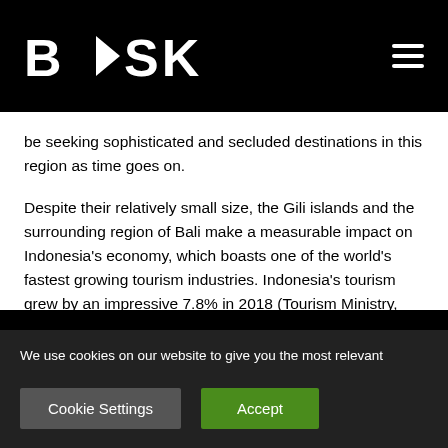BASK
be seeking sophisticated and secluded destinations in this region as time goes on.
Despite their relatively small size, the Gili islands and the surrounding region of Bali make a measurable impact on Indonesia's economy, which boasts one of the world's fastest growing tourism industries. Indonesia's tourism grew by an impressive 7.8% in 2018 (Tourism Ministry, 2018). In 2019 tourism contributed 4.8% to Indonesian GDP
We use cookies on our website to give you the most relevant experience by remembering your preferences and repeat visits. By clicking “Accept”, you consent to the use of ALL the cookies.
Do not sell my personal information.